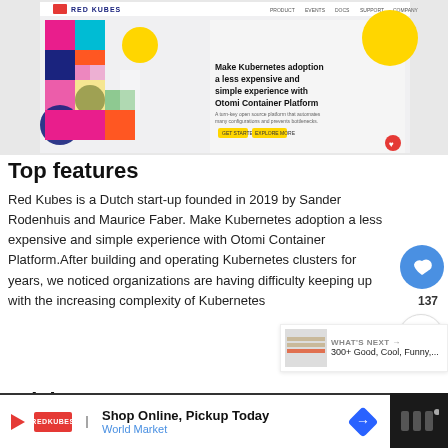[Figure (screenshot): Screenshot of Red Kubes website showing the Otomi Container Platform hero banner with colorful geometric design and navigation bar]
Top features
Red Kubes is a Dutch start-up founded in 2019 by Sander Rodenhuis and Maurice Faber. Make Kubernetes adoption a less expensive and simple experience with Otomi Container Platform.After building and operating Kubernetes clusters for years, we noticed organizations are having difficulty keeping up with the increasing complexity of Kubernetes
Pricing